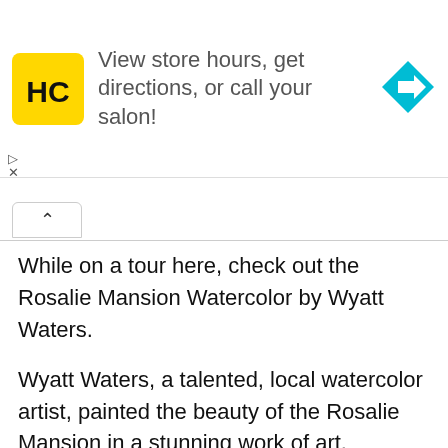[Figure (infographic): Ad banner with HC logo (yellow square with black HC text), text 'View store hours, get directions, or call your salon!', and a cyan/blue diamond-shaped direction arrow icon on the right.]
While on a tour here, check out the Rosalie Mansion Watercolor by Wyatt Waters.
Wyatt Waters, a talented, local watercolor artist, painted the beauty of the Rosalie Mansion in a stunning work of art.
Additionally, there are a lot more exhibits you can explore while on a tour with a lot of history on Natchez.